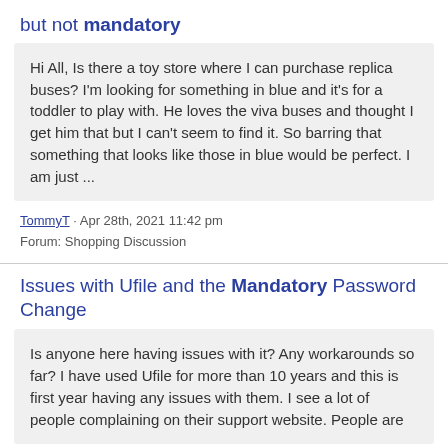but not mandatory
Hi All, Is there a toy store where I can purchase replica buses? I'm looking for something in blue and it's for a toddler to play with. He loves the viva buses and thought I get him that but I can't seem to find it. So barring that something that looks like those in blue would be perfect. I am just ...
TommyT · Apr 28th, 2021 11:42 pm
Forum: Shopping Discussion
Issues with Ufile and the Mandatory Password Change
Is anyone here having issues with it? Any workarounds so far? I have used Ufile for more than 10 years and this is first year having any issues with them. I see a lot of people complaining on their support website. People are